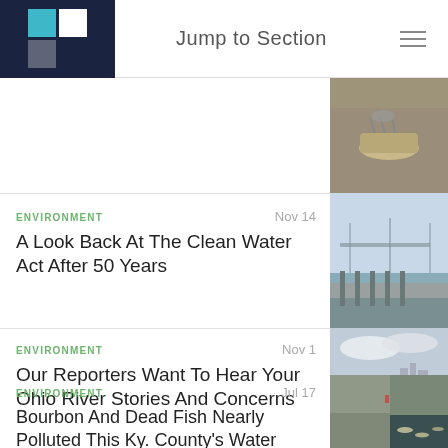Jump to Section
[Figure (photo): Aerial or close-up view of a boat/canoe on water, partially cropped]
ENVIRONMENT   Nov 14
A Look Back At The Clean Water Act After 50 Years
[Figure (photo): Bridge over a wide river at dusk/dawn with a dock or seawall in the foreground]
ENVIRONMENT   Nov 1
Our Reporters Want To Hear Your Ohio River Stories And Concerns
[Figure (photo): Low water river bank with dry sediment and industrial skyline in background]
ENVIRONMENT   Jul 17
Bourbon And Dead Fish Nearly Polluted This Ky. County's Water Supply
[Figure (photo): Concrete dam or lock structure with dead fish floating in water below]